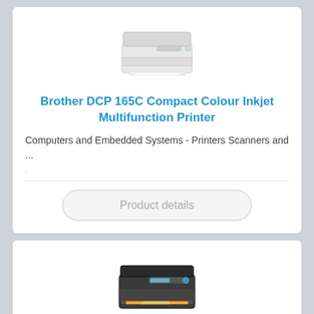[Figure (photo): Brother DCP 165C compact colour inkjet multifunction printer - white printer illustration]
Brother DCP 165C Compact Colour Inkjet Multifunction Printer
Computers and Embedded Systems - Printers Scanners and ...
.
Product details
[Figure (photo): Brother DCP 375CW wireless colour inkjet multifunction printer - dark grey/black printer illustration]
Brother DCP 375CW Wireless colour Inkjet Multifunction Printer